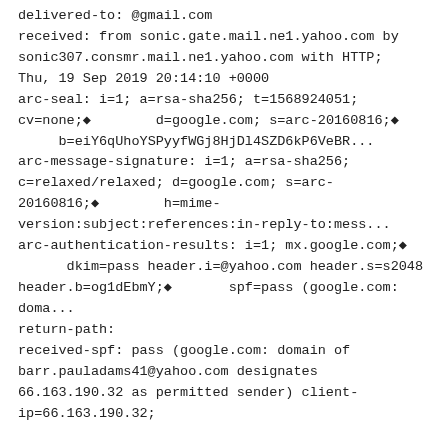delivered-to: @gmail.com
received: from sonic.gate.mail.ne1.yahoo.com by sonic307.consmr.mail.ne1.yahoo.com with HTTP;
Thu, 19 Sep 2019 20:14:10 +0000
arc-seal: i=1; a=rsa-sha256; t=1568924051;
cv=none;◆        d=google.com; s=arc-20160816;◆
     b=eiY6qUhoYSPyyfWGj8HjDl4SZD6kP6VeBR...
arc-message-signature: i=1; a=rsa-sha256;
c=relaxed/relaxed; d=google.com; s=arc-20160816;◆        h=mime-version:subject:references:in-reply-to:mess...
arc-authentication-results: i=1; mx.google.com;◆
      dkim=pass header.i=@yahoo.com header.s=s2048
header.b=og1dEbmY;◆       spf=pass (google.com: doma...
return-path:
received-spf: pass (google.com: domain of barr.pauladams41@yahoo.com designates 66.163.190.32 as permitted sender) client-ip=66.163.190.32;